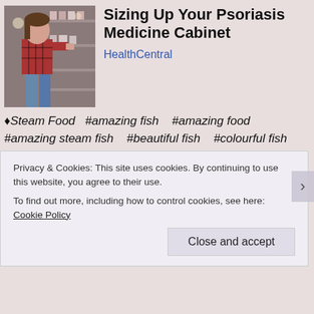[Figure (photo): Photo of a woman shopping in a store aisle, looking at products on shelves]
Sizing Up Your Psoriasis Medicine Cabinet
HealthCentral
♦Steam Food  #amazing fish   #amazing food  #amazing steam fish   #beautiful fish   #colourful fish  #colourful food   #colourful food fish   #delcious food  #delicious   #delicious fish   #delicious food  #delicious meal   #delicious plate of food  #delicous food  #delicous meal.   #fish   #fish food  #fishy   #frozen fish   #green onins   #healthy food  #plate of fish   #plate of fish with sauce  #plate of steam fish  #plate of steamed fish  #red fish
Privacy & Cookies: This site uses cookies. By continuing to use this website, you agree to their use.
To find out more, including how to control cookies, see here: Cookie Policy
Close and accept